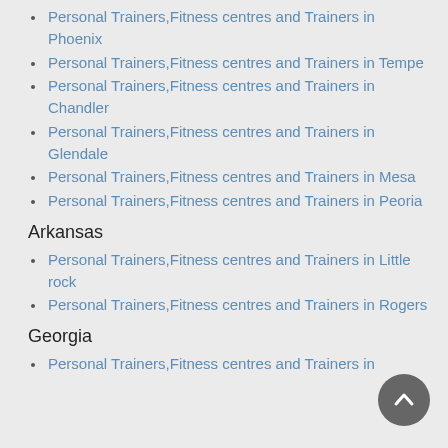Personal Trainers,Fitness centres and Trainers in Phoenix
Personal Trainers,Fitness centres and Trainers in Tempe
Personal Trainers,Fitness centres and Trainers in Chandler
Personal Trainers,Fitness centres and Trainers in Glendale
Personal Trainers,Fitness centres and Trainers in Mesa
Personal Trainers,Fitness centres and Trainers in Peoria
Arkansas
Personal Trainers,Fitness centres and Trainers in Little rock
Personal Trainers,Fitness centres and Trainers in Rogers
Georgia
Personal Trainers,Fitness centres and Trainers in ...